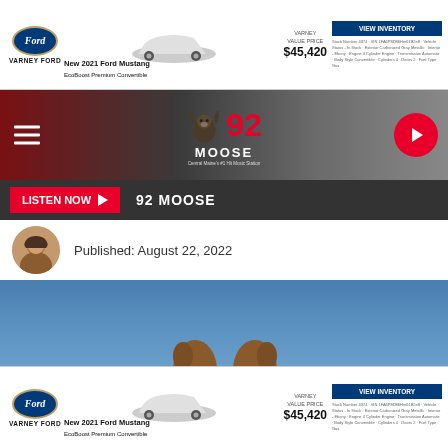[Figure (screenshot): Varney Ford advertisement banner showing a Ford Mustang, with 'VARNEY FORD' branding, 'New 2021 Ford Mustang EcoBoost Premium Convertible', 'VARNEY VALUE PRICE $45,420', and a 'VIEW INVENTORY' button with vehicle details.]
[Figure (screenshot): 92 Moose radio station navigation bar with hamburger menu, 92 Moose logo, and a red play button circle on the right.]
[Figure (screenshot): Dark grey bar with red 'LISTEN NOW' button with play arrow and '92 MOOSE' text in white.]
Published: August 22, 2022
[Figure (photo): Blue sky background image with moose ears/antlers peeking up from the bottom.]
[Figure (screenshot): Varney Ford advertisement banner at bottom, identical to top banner — Ford Mustang, VARNEY VALUE PRICE $45,420, VIEW INVENTORY button.]